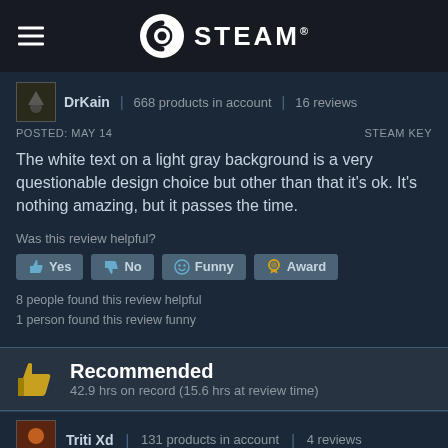STEAM
DrKain | 668 products in account | 16 reviews
POSTED: MAY 14   STEAM KEY
The white text on a light gray background is a very questionable design choice but other than that it's ok. It's nothing amazing, but it passes the time.
Was this review helpful?
Yes  No  Funny  Award
8 people found this review helpful
1 person found this review funny
Recommended
42.9 hrs on record (15.6 hrs at review time)
Triti Xd | 131 products in account | 4 reviews